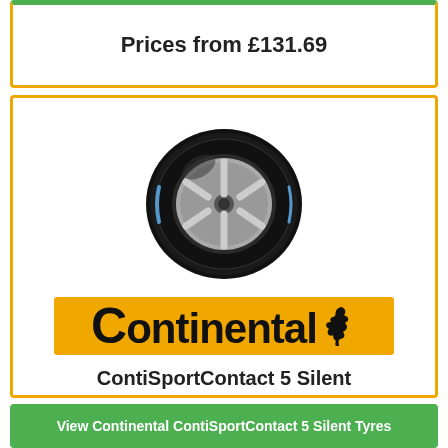Prices from £131.69
[Figure (photo): Continental ContiSportContact 5 Silent tyre product image showing a black tyre with silver alloy wheel]
[Figure (logo): Continental brand logo — orange/yellow background with 'Continental' in bold black text and horse emblem]
ContiSportContact 5 Silent
View Continental ContiSportContact 5 Silent Tyres